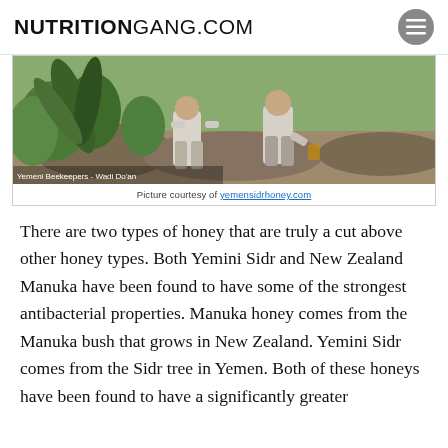NUTRITIONGANG.COM
[Figure (photo): Two Yemeni beekeepers crouching on rocks among plants, with caption overlay 'Yemeni Beekeepers - Wadi Do'an']
Picture courtesy of yemensidrhoney.com
There are two types of honey that are truly a cut above other honey types. Both Yemini Sidr and New Zealand Manuka have been found to have some of the strongest antibacterial properties. Manuka honey comes from the Manuka bush that grows in New Zealand. Yemini Sidr comes from the Sidr tree in Yemen. Both of these honeys have been found to have a significantly greater